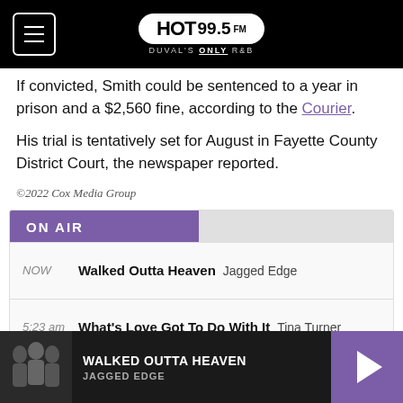HOT 99.5 FM — DUVAL'S ONLY R&B
If convicted, Smith could be sentenced to a year in prison and a $2,560 fine, according to the Courier.
His trial is tentatively set for August in Fayette County District Court, the newspaper reported.
©2022 Cox Media Group
| Time | Song | Artist |
| --- | --- | --- |
| NOW | Walked Outta Heaven | Jagged Edge |
| 5:23 am | What's Love Got To Do With It | Tina Turner |
| 5:20 am | Pick Up Your Feelings | Jazmine Sullivan |
WALKED OUTTA HEAVEN — JAGGED EDGE (now playing)